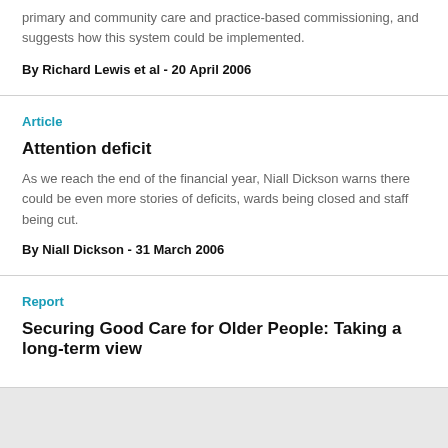primary and community care and practice-based commissioning, and suggests how this system could be implemented.
By Richard Lewis et al - 20 April 2006
Article
Attention deficit
As we reach the end of the financial year, Niall Dickson warns there could be even more stories of deficits, wards being closed and staff being cut.
By Niall Dickson - 31 March 2006
Report
Securing Good Care for Older People: Taking a long-term view